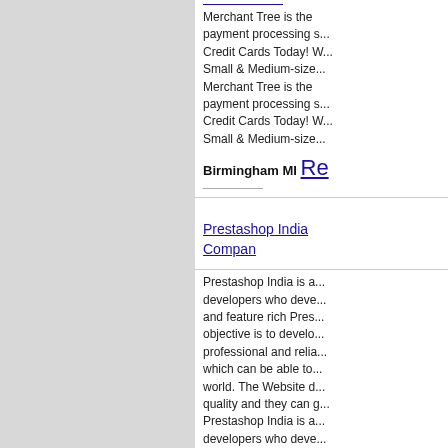[Figure (other): Left gray sidebar panel]
Merchant Tree is the payment processing s... Credit Cards Today! W... Small & Medium-size... Merchant Tree is the payment processing s... Credit Cards Today! W... Small & Medium-size...
Birmingham MI Re...
Prestashop India Compan
Prestashop India is a... developers who deve... and feature rich Pres... objective is to develo... professional and relia... which can be able to... world. The Website d... quality and they can g... Prestashop India is a... developers who deve... and feature rich Pres... objective is to develo... professional and relia... which can be able to... world. The Website d... quality and they can g...
Nationwide US Re...